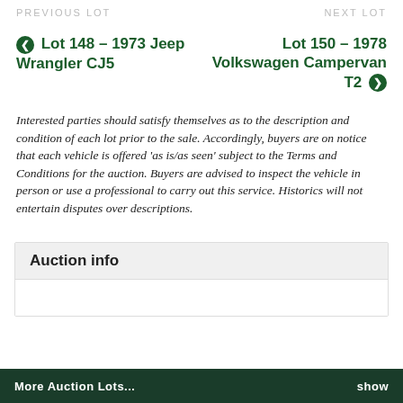PREVIOUS LOT    NEXT LOT
◀ Lot 148 – 1973 Jeep Wrangler CJ5
Lot 150 – 1978 Volkswagen Campervan T2 ▶
Interested parties should satisfy themselves as to the description and condition of each lot prior to the sale. Accordingly, buyers are on notice that each vehicle is offered 'as is/as seen' subject to the Terms and Conditions for the auction. Buyers are advised to inspect the vehicle in person or use a professional to carry out this service. Historics will not entertain disputes over descriptions.
Auction info
More Auction Lots...    show